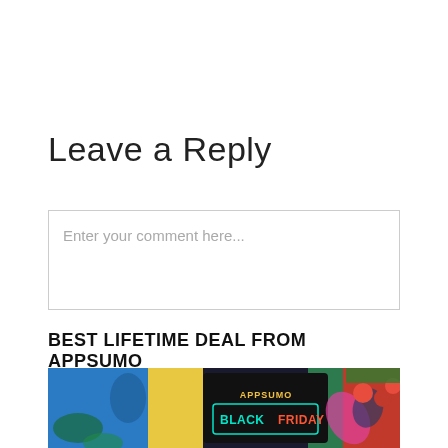Leave a Reply
Enter your comment here...
BEST LIFETIME DEAL FROM APPSUMO
[Figure (photo): AppSumo Black Friday promotional image collage showing people, colorful backgrounds, tomatoes, and an AppSumo Black Friday neon sign]